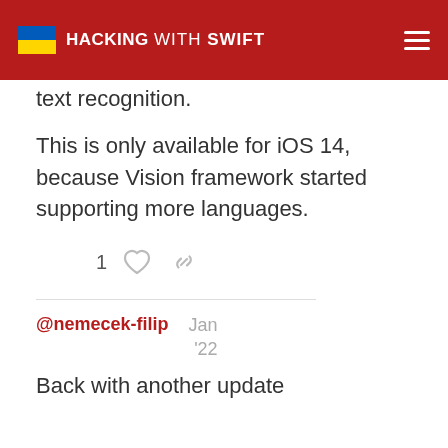HACKING WITH SWIFT
text recognition.
This is only available for iOS 14, because Vision framework started supporting more languages.
1
@nemecek-filip   Jan '22
Back with another update